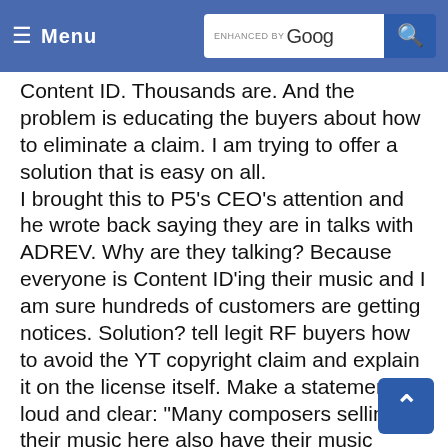Menu   ENHANCED BY Goog [search]
Content ID. Thousands are. And the problem is educating the buyers about how to eliminate a claim. I am trying to offer a solution that is easy on all. I brought this to P5’s CEO’s attention and he wrote back saying they are in talks with ADREV. Why are they talking? Because everyone is Content ID’ing their music and I am sure hundreds of customers are getting notices. Solution? tell legit RF buyers how to avoid the YT copyright claim and explain it on the license itself. Make a statement loud and clear: “Many composers selling their music here also have their music registered into YT’s Content ID advertising revenue program, if you intend on uploading this song on YOUTUBE and do NOT want an advertisement on it nor a copyright claim on your video, please e-mail your proof of music license to ADREV along with your YT video and they will